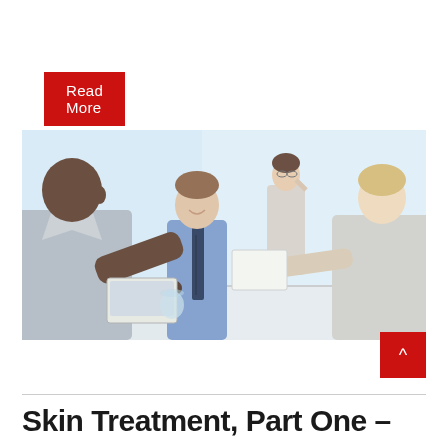Read More
[Figure (photo): Business meeting scene with four professionals in a bright office setting. A man in a grey suit is in the foreground, across from a smiling man in a blue shirt and tie, and a blonde woman in a light suit. In the background, a woman in white is on the phone.]
Skin Treatment, Part One –